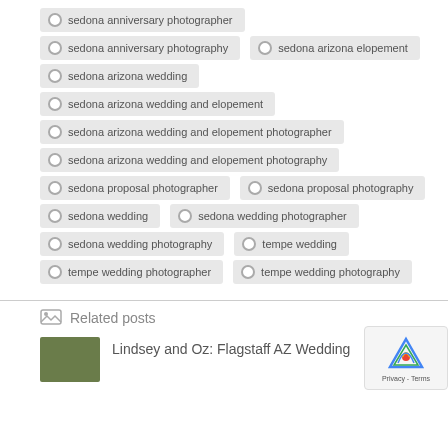sedona anniversary photographer
sedona anniversary photography
sedona arizona elopement
sedona arizona wedding
sedona arizona wedding and elopement
sedona arizona wedding and elopement photographer
sedona arizona wedding and elopement photography
sedona proposal photographer
sedona proposal photography
sedona wedding
sedona wedding photographer
sedona wedding photography
tempe wedding
tempe wedding photographer
tempe wedding photography
Related posts
Lindsey and Oz: Flagstaff AZ Wedding